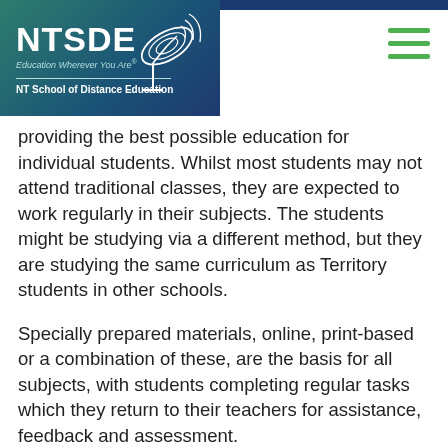NTSDE — NT School of Distance Education
providing the best possible education for individual students. Whilst most students may not attend traditional classes, they are expected to work regularly in their subjects. The students might be studying via a different method, but they are studying the same curriculum as Territory students in other schools.
Specially prepared materials, online, print-based or a combination of these, are the basis for all subjects, with students completing regular tasks which they return to their teachers for assistance, feedback and assessment.